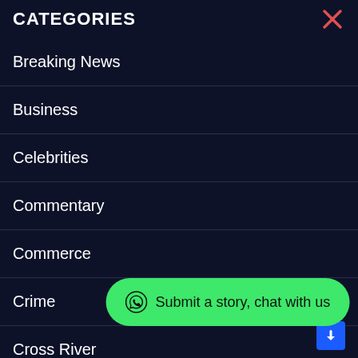CATEGORIES
Breaking News
Business
Celebrities
Commentary
Commerce
Crime
Cross River
Economy
Submit a story, chat with us